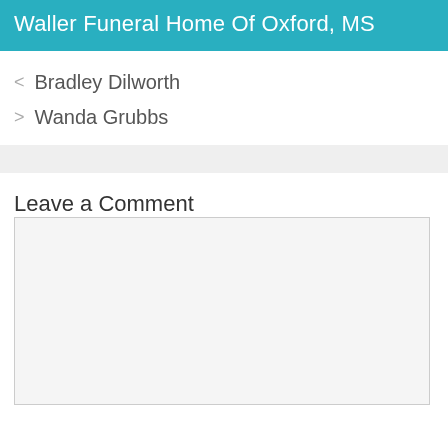Waller Funeral Home Of Oxford, MS
< Bradley Dilworth
> Wanda Grubbs
Leave a Comment